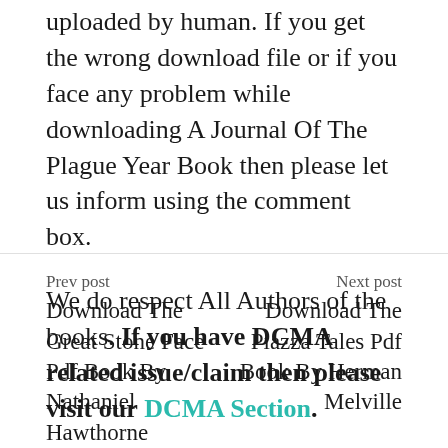All the articles published on this site are uploaded by human. If you get the wrong download file or if you face any problem while downloading A Journal Of The Plague Year Book then please let us inform using the comment box.
We do respect All Authors of the books. If you have DCMA related issue/claim then please visit our DCMA Section.
Prev post
Download The Great Stone Face Pdf Book By Nathaniel Hawthorne
Next post
Download The Piazza Tales Pdf Book By Herman Melville